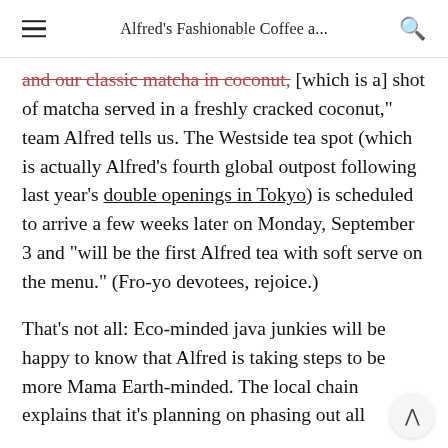Alfred's Fashionable Coffee a...
and our classic matcha in coconut, [which is a] shot of matcha served in a freshly cracked coconut," team Alfred tells us. The Westside tea spot (which is actually Alfred's fourth global outpost following last year's double openings in Tokyo) is scheduled to arrive a few weeks later on Monday, September 3 and "will be the first Alfred tea with soft serve on the menu." (Fro-yo devotees, rejoice.)
That's not all: Eco-minded java junkies will be happy to know that Alfred is taking steps to be more Mama Earth-minded. The local chain explains that it's planning on phasing out all